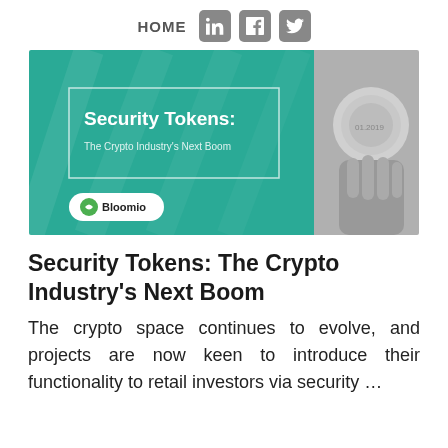HOME
[Figure (illustration): Hero image for article about Security Tokens. Left half has teal/green background with white bordered box containing bold text 'Security Tokens:' and subtitle 'The Crypto Industry's Next Boom', plus a Bloomio logo badge at bottom left. Right half shows a black and white photo of a hand holding a physical coin/token.]
Security Tokens: The Crypto Industry's Next Boom
The crypto space continues to evolve, and projects are now keen to introduce their functionality to retail investors via security …